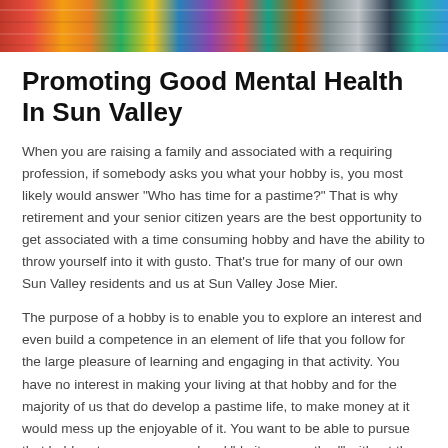[Figure (photo): Colorful yarn/thread spools image at the top of the page]
Promoting Good Mental Health In Sun Valley
When you are raising a family and associated with a requiring profession, if somebody asks you what your hobby is, you most likely would answer “Who has time for a pastime?” That is why retirement and your senior citizen years are the best opportunity to get associated with a time consuming hobby and have the ability to throw yourself into it with gusto. That’s true for many of our own Sun Valley residents and us at Sun Valley Jose Mier.
The purpose of a hobby is to enable you to explore an interest and even build a competence in an element of life that you follow for the large pleasure of learning and engaging in that activity. You have no interest in making your living at that hobby and for the majority of us that do develop a pastime life, to make money at it would mess up the enjoyable of it. You want to be able to pursue that hobby at your own speed and “do it your method” without the problem of a manager or someone telling you that you are doing it wrong.